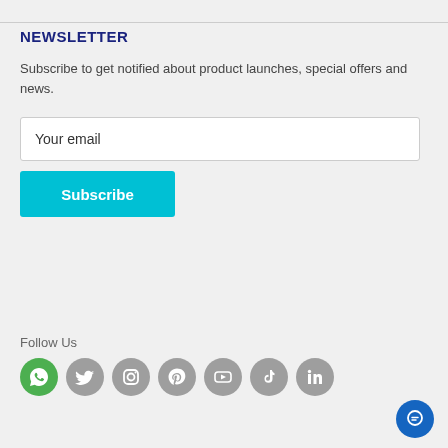NEWSLETTER
Subscribe to get notified about product launches, special offers and news.
Your email
Subscribe
Follow Us
[Figure (infographic): Row of social media icons: WhatsApp (green), Twitter, Instagram, Pinterest, YouTube, TikTok, LinkedIn (all grey circles), plus a blue chat button in the bottom right corner.]